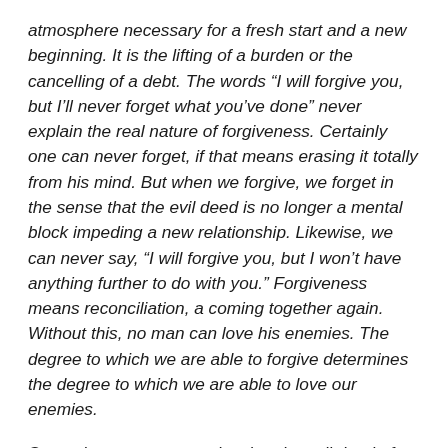atmosphere necessary for a fresh start and a new beginning. It is the lifting of a burden or the cancelling of a debt. The words “I will forgive you, but I’ll never forget what you’ve done” never explain the real nature of forgiveness. Certainly one can never forget, if that means erasing it totally from his mind. But when we forgive, we forget in the sense that the evil deed is no longer a mental block impeding a new relationship. Likewise, we can never say, “I will forgive you, but I won’t have anything further to do with you.” Forgiveness means reconciliation, a coming together again. Without this, no man can love his enemies. The degree to which we are able to forgive determines the degree to which we are able to love our enemies.
Second, we must recognize that the evil deed of the enemy-neighbor, the thing that hurts, never quite represents all that he is. An element of goodness may be found...